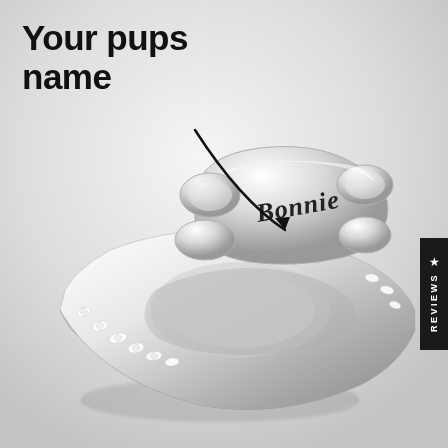[Figure (photo): A silver ring with a dog bone-shaped centerpiece engraved with the name 'Bonnie' in cursive script. The ring band features small diamond/crystal accents on both sides of the bone. The ring is photographed on a light gray gradient background. An annotation arrow points from bold text 'Your pups name' to the engraved name on the ring.]
Your pups name
★ REVIEWS